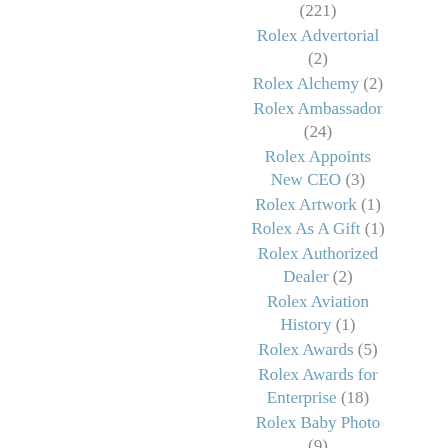(221)
Rolex Advertorial (2)
Rolex Alchemy (2)
Rolex Ambassador (24)
Rolex Appoints New CEO (3)
Rolex Artwork (1)
Rolex As A Gift (1)
Rolex Authorized Dealer (2)
Rolex Aviation History (1)
Rolex Awards (5)
Rolex Awards for Enterprise (18)
Rolex Baby Photo (9)
Rolex Beach Shot (2)